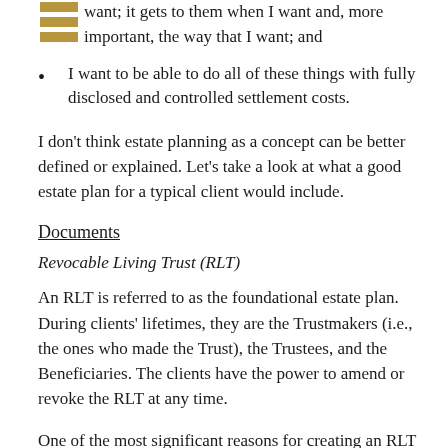want; it gets to them when I want and, more important, the way that I want; and
I want to be able to do all of these things with fully disclosed and controlled settlement costs.
I don't think estate planning as a concept can be better defined or explained. Let's take a look at what a good estate plan for a typical client would include.
Documents
Revocable Living Trust (RLT)
An RLT is referred to as the foundational estate plan. During clients' lifetimes, they are the Trustmakers (i.e., the ones who made the Trust), the Trustees, and the Beneficiaries. The clients have the power to amend or revoke the RLT at any time.
One of the most significant reasons for creating an RLT is to have it own the client's property (real, tangible, and intangible). The RLT then directs how that property will be managed during the client's lifetime. The client has nominated successor Trustees